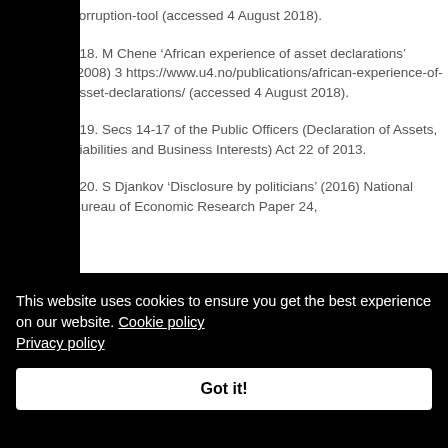corruption-tool (accessed 4 August 2018).
118. M Chene ‘African experience of asset declarations’ (2008) 3 https://www.u4.no/publications/african-experience-of-asset-declarations/ (accessed 4 August 2018).
119. Secs 14-17 of the Public Officers (Declaration of Assets, Liabilities and Business Interests) Act 22 of 2013.
120. S Djankov ‘Disclosure by politicians’ (2016) National Bureau of Economic Research Paper 24,
This website uses cookies to ensure you get the best experience on our website. Cookie policy Privacy policy
Got it!